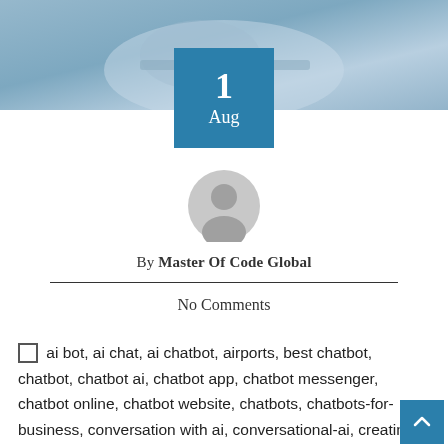[Figure (photo): Blue-toned banner photo of a person at a laptop, blurred background]
1
Aug
[Figure (illustration): Grey circular avatar/profile placeholder icon]
By Master Of Code Global
No Comments
ai bot, ai chat, ai chatbot, airports, best chatbot, chatbot, chatbot ai, chatbot app, chatbot messenger, chatbot online, chatbot website, chatbots, chatbots-for-business, conversation with ai, conversational-ai, creating chatbots, facebook bot, facebook chatbot, facebook messenger bot, google chat bots, robot chat